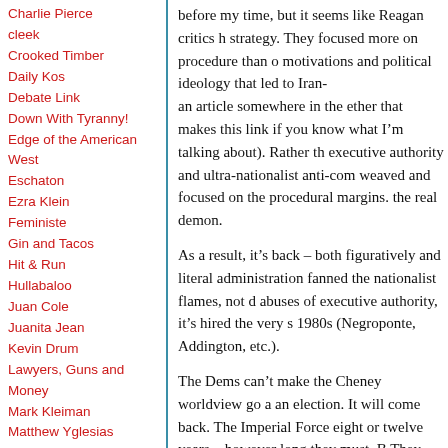Charlie Pierce
cleek
Crooked Timber
Daily Kos
Debate Link
Down With Tyranny!
Edge of the American West
Eschaton
Ezra Klein
Feministe
Gin and Tacos
Hit & Run
Hullabaloo
Juan Cole
Juanita Jean
Kevin Drum
Lawyers, Guns and Money
Mark Kleiman
Matthew Yglesias
Maxspeak
Mercury Rising
Michael Cain's Random
before my time, but it seems like Reagan critics h strategy. They focused more on procedure than o motivations and political ideology that led to Iran- an article somewhere in the ether that makes this link if you know what I'm talking about). Rather th executive authority and ultra-nationalist anti-com weaved and focused on the procedural margins. the real demon.
As a result, it's back – both figuratively and literal administration fanned the nationalist flames, not d abuses of executive authority, it's hired the very s 1980s (Negroponte, Addington, etc.).
The Dems can't make the Cheney worldview go a an election. It will come back. The Imperial Force eight or twelve years – however long they must. B They always come back.
That's why the Dems must ultimately go all in on need to pick their battles of course. But to rid ours there has to be a political fight against it – a final s Rank-and-file Dems need to know that their altern of law, etc.) are politically viable. Every time one o